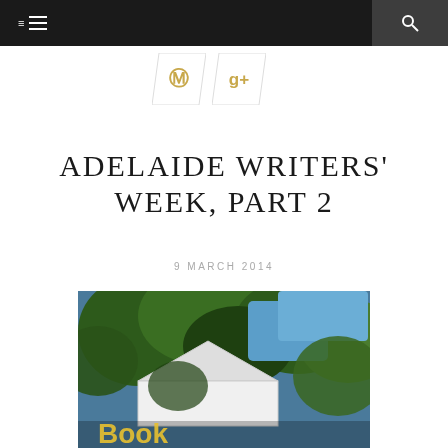≡  🔍
[Figure (illustration): Two parallelogram-shaped social media icon buttons: Pinterest (P icon) and Google+ (g+ icon) in gold/yellow color on white background with light border]
ADELAIDE WRITERS' WEEK, PART 2
9 MARCH 2014
[Figure (photo): Outdoor photograph showing a white tent/marquee surrounded by lush green trees with blue sky visible in background, with partial yellow text visible at bottom]